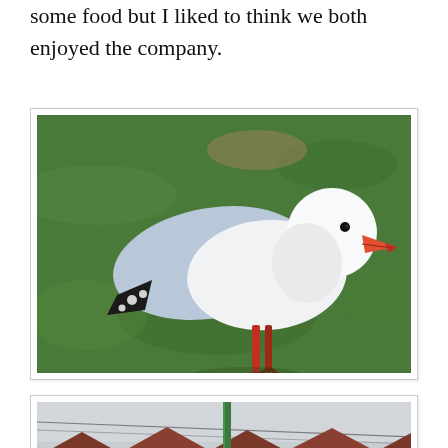some food but I liked to think we both enjoyed the company.
[Figure (photo): A seagull with white and light grey plumage, black wingtips, red beak and red legs, standing on green grass.]
[Figure (photo): Partial view of a building complex with triangular roof peaks in brown/dark red, wooden facade, and a green pole in the foreground, under an overcast sky.]